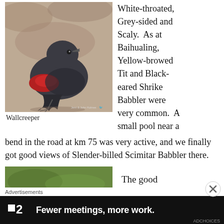[Figure (photo): A Wallcreeper bird with dark grey plumage and red wing patches, perched on a sandy/rocky surface.]
Wallcreeper
White-throated, Grey-sided and Scaly.  As at Baihualing, Yellow-browed Tit and Black-eared Shrike Babbler were very common.  A small pool near a bend in the road at km 75 was very active, and we finally got good views of Slender-billed Scimitar Babbler there. Pygmy Blue Flycatcher and Brown-throated Treecreeper made brief appearances.
[Figure (photo): Partial view of a green foliage/vegetation photo at the bottom of the page.]
The good
Advertisements
[Figure (screenshot): Advertisement banner: Fewer meetings, more work. (Flat2 / F2 app ad)]